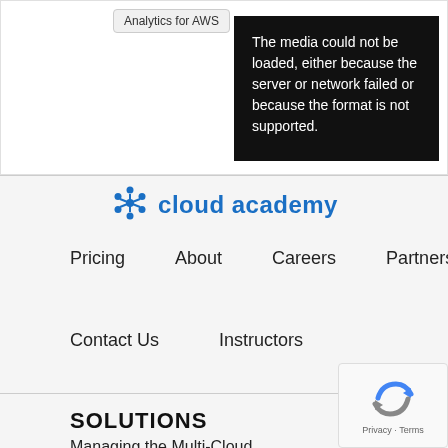Analytics for AWS
The media could not be loaded, either because the server or network failed or because the format is not supported.
[Figure (logo): Cloud Academy logo with blue snowflake icon and text 'cloud academy' in blue]
Pricing
About
Careers
Partners
Contact Us
Instructors
SOLUTIONS
Managing the Multi-Cloud
[Figure (logo): reCAPTCHA logo with blue and gray circular arrows icon, text 'Privacy · Terms']